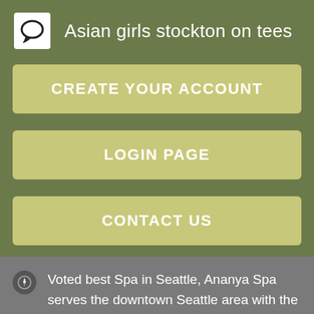Asian girls stockton on tees
CREATE YOUR ACCOUNT
LOGIN PAGE
CONTACT US
[Figure (screenshot): Three thumbnail images side by side: a black image with 'tap to date' text, a skin/massage image with 'tap to rate' text, and a book/document image with text lines and barcode]
Voted best Spa in Seattle, Ananya Spa serves the downtown Seattle area with the best in spa, beauty and wellness.